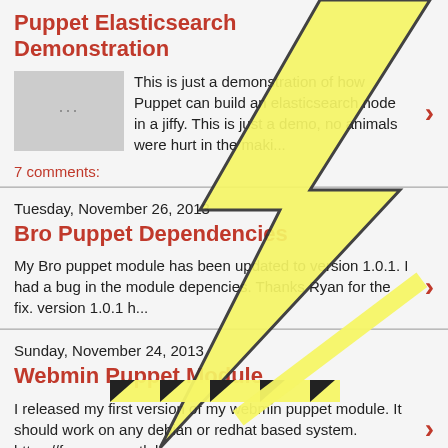Puppet Elasticsearch Demonstration
This is just a demonstration of how Puppet can build an elasticsearch node in a jiffy. This is just a demo, no animals were hurt in the maki...
7 comments:
Tuesday, November 26, 2013
Bro Puppet Dependencies
My Bro puppet module has been updated to version 1.0.1. I had a bug in the module depencies. Thanks Ryan for the fix. version 1.0.1 h...
Sunday, November 24, 2013
Webmin Puppet Module
I released my first version of my webmin puppet module. It should work on any debian or redhat based system. https://forge.puppetlabs.com...